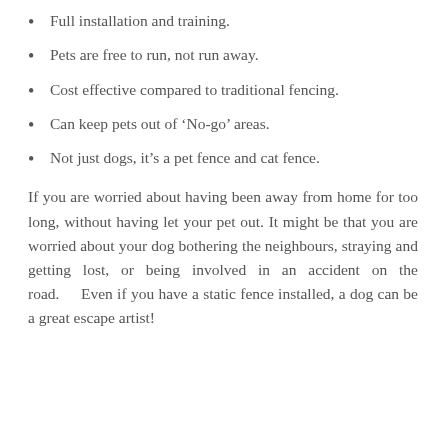Full installation and training.
Pets are free to run, not run away.
Cost effective compared to traditional fencing.
Can keep pets out of ‘No-go’ areas.
Not just dogs, it’s a pet fence and cat fence.
If you are worried about having been away from home for too long, without having let your pet out. It might be that you are worried about your dog bothering the neighbours, straying and getting lost, or being involved in an accident on the road.    Even if you have a static fence installed, a dog can be a great escape artist!